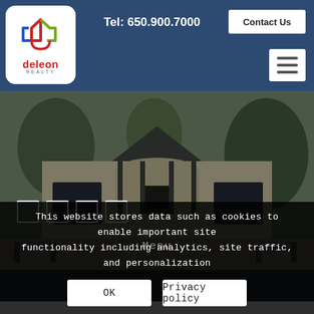Tel: 650.900.7000 | Contact Us
[Figure (logo): DeLeon Realty logo — colorful house outline with 'deleon REALTY' text]
[Figure (photo): Exterior photo of a luxury home with patio furniture, pool, and lush greenery]
This website stores data such as cookies to enable important site functionality including analytics, site traffic, and personalization
OK
Privacy policy